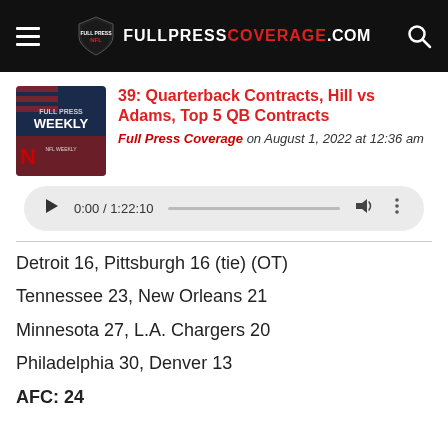FULLPRESSCOVERAGE.COM
39: Quarterback Contracts, Hill vs Adams, Top 5 QB Contracts
Full Press Coverage on August 1, 2022 at 12:36 am
[Figure (screenshot): Audio player showing 0:00 / 1:22:10]
Detroit 16, Pittsburgh 16 (tie) (OT)
Tennessee 23, New Orleans 21
Minnesota 27, L.A. Chargers 20
Philadelphia 30, Denver 13
AFC: 24